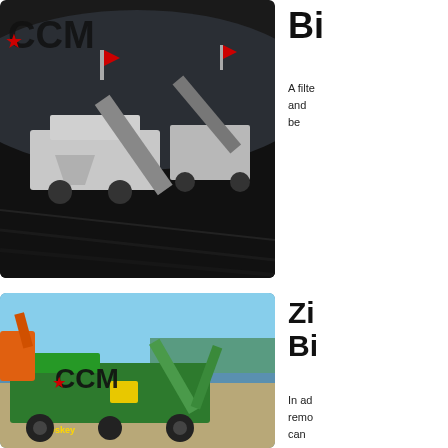[Figure (photo): Aerial view of large mobile screening/crushing equipment (branded CCM with red star logo) operating in a coal or mineral open-pit mine. Multiple conveyor belts and heavy machinery visible on dark material.]
Bi...
A filt... and ... be ...
[Figure (photo): McCloskey branded green mobile screening/crushing plant with CCM logo (red star) at an aggregate quarry site. Orange excavator visible in background, blue sky.]
Zi... Bi...
In ad... remo... can ...